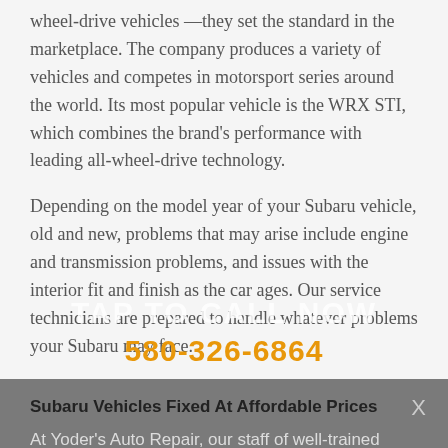wheel-drive vehicles —they set the standard in the marketplace. The company produces a variety of vehicles and competes in motorsport series around the world. Its most popular vehicle is the WRX STI, which combines the brand's performance with leading all-wheel-drive technology.
Depending on the model year of your Subaru vehicle, old and new, problems that may arise include engine and transmission problems, and issues with the interior fit and finish as the car ages. Our service technicians are prepared to handle whatever problems your Subaru may face.
Subaru Vehicles Fixed At Affordable Prices
TAP TO CALL NOW
580-326-6864
At Yoder's Auto Repair, our staff of well-trained Subaru service technicians is ready to service your vehicle. We want you to face as little disruption as possible when you bring your Subaru vehicle to us — we understand the hardships you face